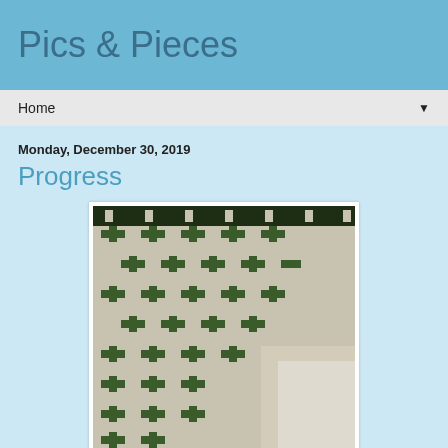Pics & Pieces
Home
Monday, December 30, 2019
Progress
[Figure (photo): A green and white quilt pattern laid on a wall, showing cross/plus shaped blocks in dark green fabric on a cream/white background, in a diagonal diamond arrangement. The bottom right corner shows an incomplete section of plain fabric.]